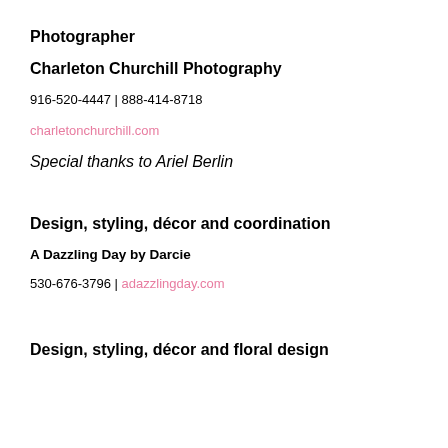Photographer
Charleton Churchill Photography
916-520-4447 | 888-414-8718
charletonchurchill.com
Special thanks to Ariel Berlin
Design, styling, décor and coordination
A Dazzling Day by Darcie
530-676-3796 | adazzlingday.com
Design, styling, décor and floral design